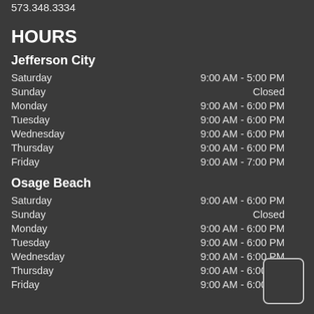573.348.3334
HOURS
Jefferson City
Saturday    9:00 AM - 5:00 PM
Sunday    Closed
Monday    9:00 AM - 6:00 PM
Tuesday    9:00 AM - 6:00 PM
Wednesday    9:00 AM - 6:00 PM
Thursday    9:00 AM - 6:00 PM
Friday    9:00 AM - 7:00 PM
Osage Beach
Saturday    9:00 AM - 6:00 PM
Sunday    Closed
Monday    9:00 AM - 6:00 PM
Tuesday    9:00 AM - 6:00 PM
Wednesday    9:00 AM - 6:00 PM
Thursday    9:00 AM - 6:00 PM
Friday    9:00 AM - 6:00 PM